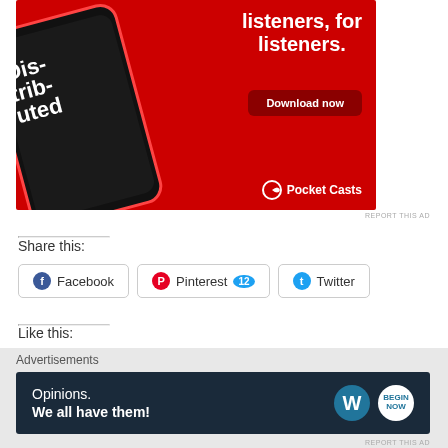[Figure (screenshot): Pocket Casts app advertisement on red background with phone showing 'Dis-trib-uted' podcast, text 'listeners, for listeners.' and 'Download now' button]
REPORT THIS AD
Share this:
Facebook
Pinterest 12
Twitter
Like this:
Advertisements
[Figure (screenshot): Advertisement banner: 'Opinions. We all have them!' with WordPress and blog logos on dark navy background]